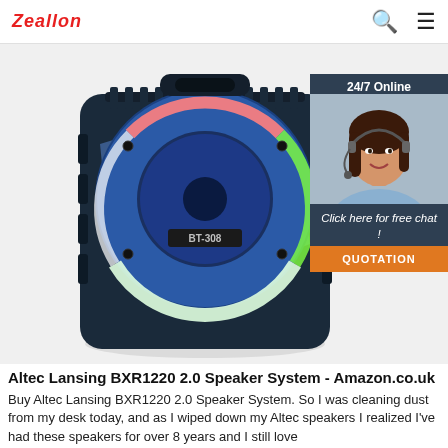Zeallon
[Figure (photo): A dark navy blue portable Bluetooth speaker model BT-308 with a hexagonal blue mesh front grille featuring a colorful RGB LED ring light effect, with a black rugged body. Overlaid on the right side is a 24/7 customer service chat widget showing a woman wearing a headset, with text 'Click here for free chat!' and an orange 'QUOTATION' button.]
Altec Lansing BXR1220 2.0 Speaker System - Amazon.co.uk
Buy Altec Lansing BXR1220 2.0 Speaker System. So I was cleaning dust from my desk today, and as I wiped down my Altec speakers I realized I've had these speakers for over 8 years and I still love